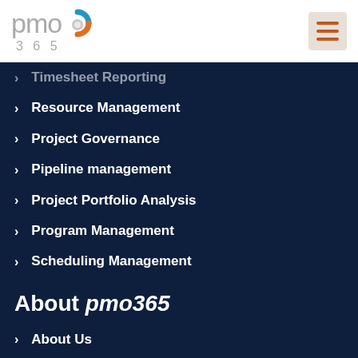[Figure (logo): PMO365 logo with stylized circular icon in blue and orange, grey text 'pmo' and '365']
Timesheet Reporting
Resource Management
Project Governance
Pipeline management
Project Portfolio Analysis
Program Management
Scheduling Management
About pmo365
About Us
Contact Us
Careers
Advisory Board
Write for Us